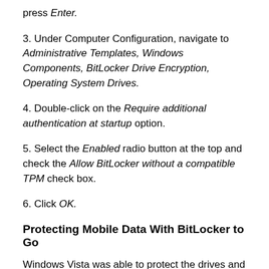press Enter.
3. Under Computer Configuration, navigate to Administrative Templates, Windows Components, BitLocker Drive Encryption, Operating System Drives.
4. Double-click on the Require additional authentication at startup option.
5. Select the Enabled radio button at the top and check the Allow BitLocker without a compatible TPM check box.
6. Click OK.
Protecting Mobile Data With BitLocker to Go
Windows Vista was able to protect the drives and